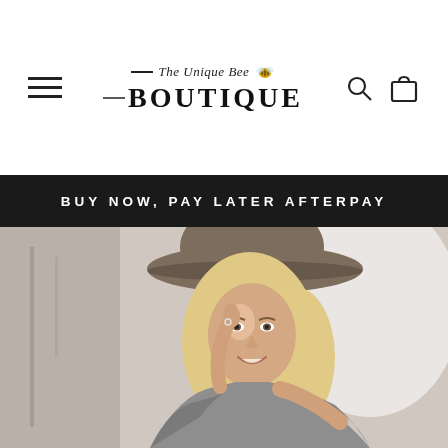[Figure (logo): The Unique Bee Boutique logo with hamburger menu icon on left and search/cart icons on right]
BUY NOW, PAY LATER AFTERPAY
[Figure (photo): Woman wearing a wide-brim felt hat and off-shoulder grey sweater, smiling, with bright background]